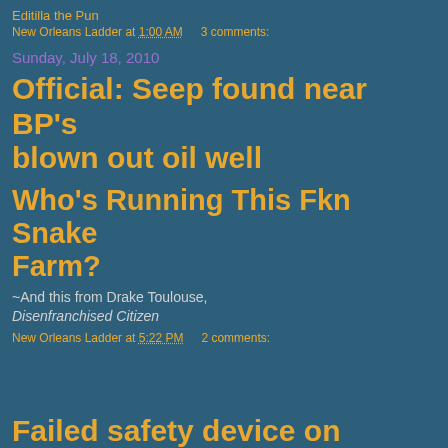Editilla the Pun
New Orleans Ladder at 1:00 AM   3 comments:
Sunday, July 18, 2010
Official: Seep found near BP's blown out oil well
Who's Running This Fkn Snake Farm?
~And this from Drake Toulouse, Disenfranchised Citizen
New Orleans Ladder at 5:22 PM   2 comments:
Failed safety device on